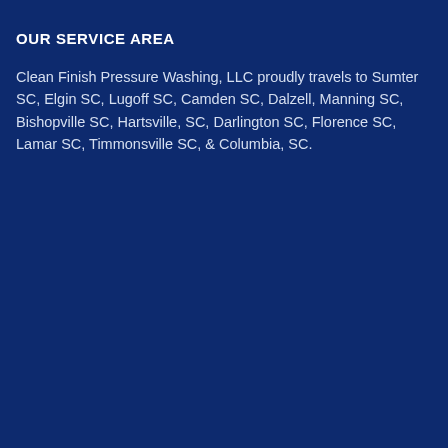OUR SERVICE AREA
Clean Finish Pressure Washing, LLC proudly travels to Sumter SC, Elgin SC, Lugoff SC, Camden SC, Dalzell, Manning SC, Bishopville SC, Hartsville, SC, Darlington SC, Florence SC, Lamar SC, Timmonsville SC, & Columbia, SC.